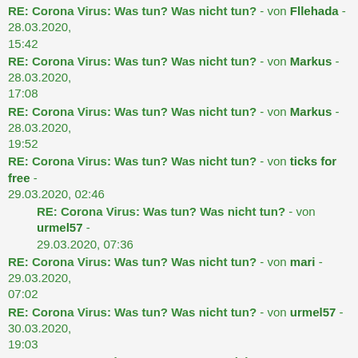RE: Corona Virus: Was tun? Was nicht tun? - von Fllehada - 28.03.2020, 15:42
RE: Corona Virus: Was tun? Was nicht tun? - von Markus - 28.03.2020, 17:08
RE: Corona Virus: Was tun? Was nicht tun? - von Markus - 28.03.2020, 19:52
RE: Corona Virus: Was tun? Was nicht tun? - von ticks for free - 29.03.2020, 02:46
RE: Corona Virus: Was tun? Was nicht tun? - von urmel57 - 29.03.2020, 07:36
RE: Corona Virus: Was tun? Was nicht tun? - von mari - 29.03.2020, 07:02
RE: Corona Virus: Was tun? Was nicht tun? - von urmel57 - 30.03.2020, 19:03
RE: Corona Virus: Was tun? Was nicht tun? - von krudan - 30.03.2020, 22:47
RE: Corona Virus: Was tun? Was nicht tun? - von Markus - 30.03.2020, 19:43
RE: Corona Virus: Was tun? Was nicht tun? - von mari - 31.03.2020, 06:01
RE: Corona Virus: Was tun? Was nicht tun? - von Markus - 31.03.2020, 07:23
RE: Corona Virus: Was tun? Was nicht tun? - von borrärger - 01.04.2020, 08:16